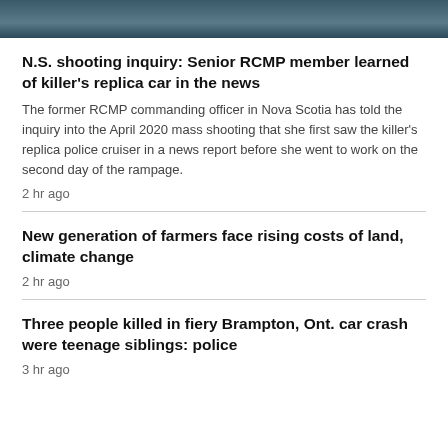[Figure (photo): Partial photo of a person in a dark jacket, sitting, with hands clasped, in front of a teal/blue background]
N.S. shooting inquiry: Senior RCMP member learned of killer's replica car in the news
The former RCMP commanding officer in Nova Scotia has told the inquiry into the April 2020 mass shooting that she first saw the killer's replica police cruiser in a news report before she went to work on the second day of the rampage.
2 hr ago
New generation of farmers face rising costs of land, climate change
2 hr ago
Three people killed in fiery Brampton, Ont. car crash were teenage siblings: police
3 hr ago